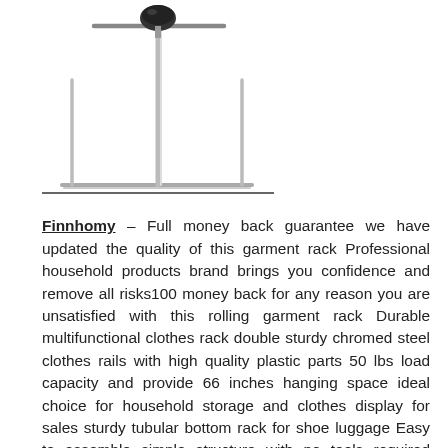[Figure (illustration): A garment rack / clothes rail with a T-shaped top bar, vertical pole, and a horizontal bottom rack. The rack is chrome/silver colored with a black T-connector at the top.]
Finnhomy – Full money back guarantee we have updated the quality of this garment rack Professional household products brand brings you confidence and remove all risks100 money back for any reason you are unsatisfied with this rolling garment rack Durable multifunctional clothes rack double sturdy chromed steel clothes rails with high quality plastic parts 50 lbs load capacity and provide 66 inches hanging space ideal choice for household storage and clothes display for sales sturdy tubular bottom rack for shoe luggage Easy to assemble simple structure with no tools required adjustable height for specific storage needs

Garment rack dimensions 331 x 1693 x 3622 6614 inches wxdxh Freely adjusting height from 3622 to 6614 inchesPerfect for storing your clothes shoes bags